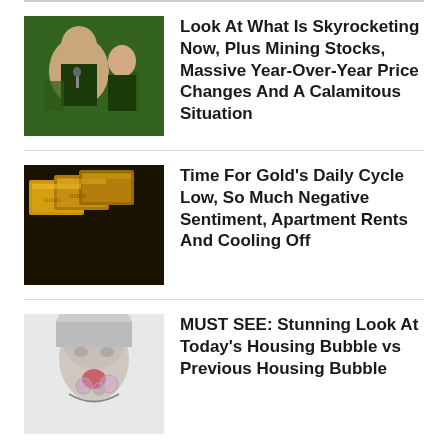Look At What Is Skyrocketing Now, Plus Mining Stocks, Massive Year-Over-Year Price Changes And A Calamitous Situation
Time For Gold's Daily Cycle Low, So Much Negative Sentiment, Apartment Rents And Cooling Off
MUST SEE: Stunning Look At Today's Housing Bubble vs Previous Housing Bubble
KWN VIDEOS
[Figure (photo): Video thumbnail showing Asian street signage with Thai and Chinese characters, partial text BURARI visible at bottom]